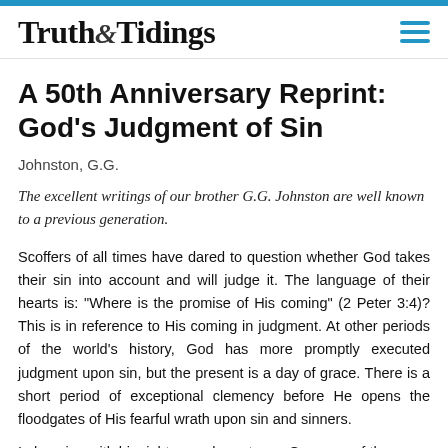Truth & Tidings
A 50th Anniversary Reprint: God's Judgment of Sin
Johnston, G.G.
The excellent writings of our brother G.G. Johnston are well known to a previous generation.
Scoffers of all times have dared to question whether God takes their sin into account and will judge it. The language of their hearts is: “Where is the promise of His coming” (2 Peter 3:4)? This is in reference to His coming in judgment. At other periods of the world’s history, God has more promptly executed judgment upon sin, but the present is a day of grace. There is a short period of exceptional clemency before He opens the floodgates of His fearful wrath upon sin and sinners.
In keeping with his righteous character as Governor of the